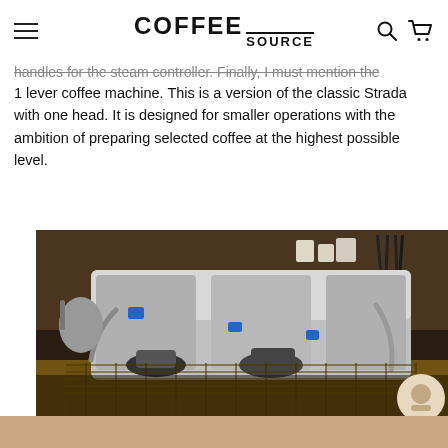COFFEE SOURCE
handles for the steam controller. Finally, I must mention the STRADA EP 1 lever coffee machine. This is a version of the classic Strada with one head. It is designed for smaller operations with the ambition of preparing selected coffee at the highest possible level.
[Figure (photo): Close-up photo of a professional espresso coffee machine (multi-group head machine) on a bar counter, with coffee cups and accessories in the background. Warm, dark ambiance.]